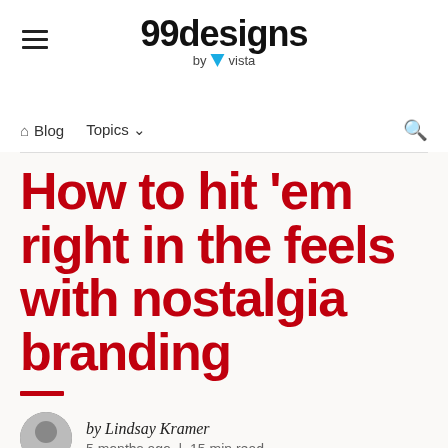99designs by vista
Blog  Topics
How to hit 'em right in the feels with nostalgia branding
by Lindsay Kramer
5 months ago | 15 min read